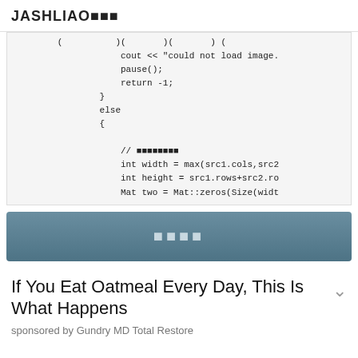JASHLIAO■■■
(
                    cout << "could not load image.
                    pause();
                    return -1;
                }
                else
                {

                    // ■■■■■■■■
                    int width = max(src1.cols,src2
                    int height = src1.rows+src2.ro
                    Mat two = Mat::zeros(Size(widt
[Figure (other): Button bar with text in CJK/special characters on a dark blue-grey gradient background]
If You Eat Oatmeal Every Day, This Is What Happens
sponsored by Gundry MD Total Restore